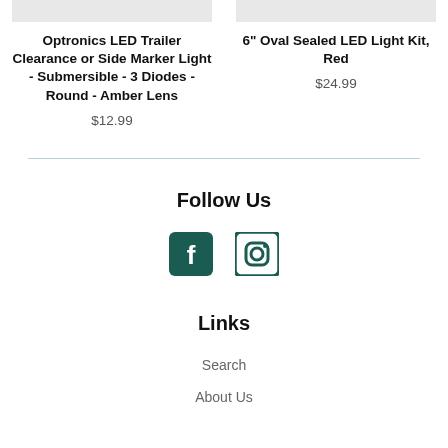Optronics LED Trailer Clearance or Side Marker Light - Submersible - 3 Diodes - Round - Amber Lens
$12.99
6" Oval Sealed LED Light Kit, Red
$24.99
Follow Us
[Figure (illustration): Facebook and Instagram social media icons]
Links
Search
About Us